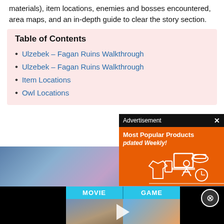materials), item locations, enemies and bosses encountered, area maps, and an in-depth guide to clear the story section.
Table of Contents
Ulzebek – Fagan Ruins Walkthrough
Ulzebek – Fagan Ruins Walkthrough
Item Locations
Owl Locations
[Figure (screenshot): Advertisement overlay with 'Most Popular Products Updated Weekly!' text on orange background with icons, and game screenshot showing anime character]
[Figure (screenshot): Video player bar showing MOVIE and GAME tabs with PLAYS branding, black side bars, and close circle button]